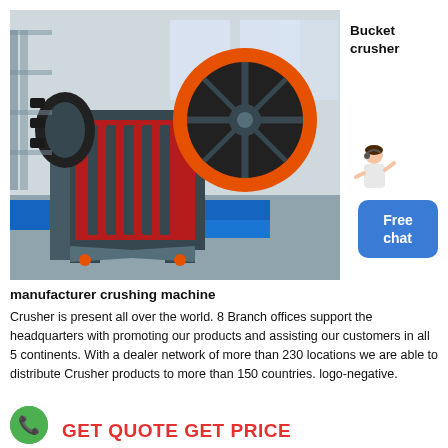[Figure (photo): Industrial jaw crusher / bucket crusher machine photographed inside a factory warehouse. The machine is dark grey/black with an orange flywheel and red interior crusher plates, mounted on a blue platform.]
Bucket crusher
[Figure (illustration): Customer service representative (woman) with headset gesturing, beside a blue rounded-rectangle button labeled 'Free chat']
manufacturer crushing machine
Crusher is present all over the world. 8 Branch offices support the headquarters with promoting our products and assisting our customers in all 5 continents. With a dealer network of more than 230 locations we are able to distribute Crusher products to more than 150 countries. logo-negative.
[Figure (illustration): Green phone circle icon on the left, and bold red text reading 'GET QUOTE  GET PRICE' on the right in the footer bar.]